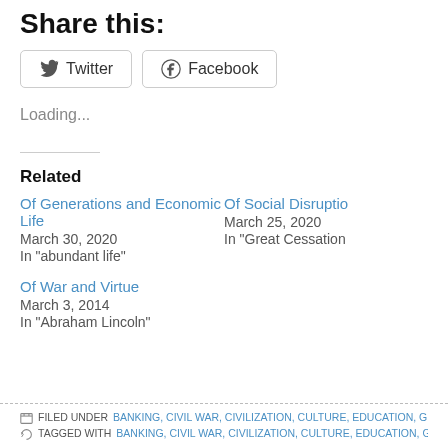Share this:
Twitter  Facebook
Loading...
Related
Of Generations and Economic Life
March 30, 2020
In "abundant life"
Of Social Disruption
March 25, 2020
In "Great Cessation"
Of War and Virtue
March 3, 2014
In "Abraham Lincoln"
FILED UNDER BANKING, CIVIL WAR, CIVILIZATION, CULTURE, EDUCATION, GREAT CESS...
TAGGED WITH BANKING, CIVIL WAR, CIVILIZATION, CULTURE, EDUCATION, GREAT CESS...